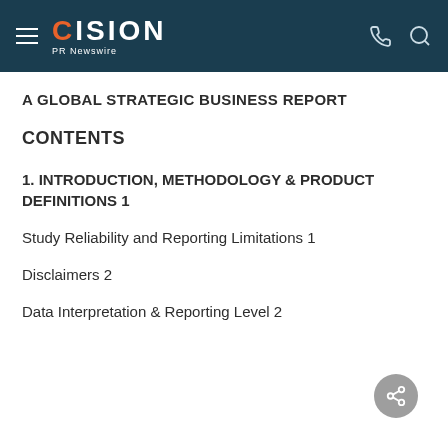CISION PR Newswire
A GLOBAL STRATEGIC BUSINESS REPORT
CONTENTS
1. INTRODUCTION, METHODOLOGY & PRODUCT DEFINITIONS 1
Study Reliability and Reporting Limitations 1
Disclaimers 2
Data Interpretation & Reporting Level 2